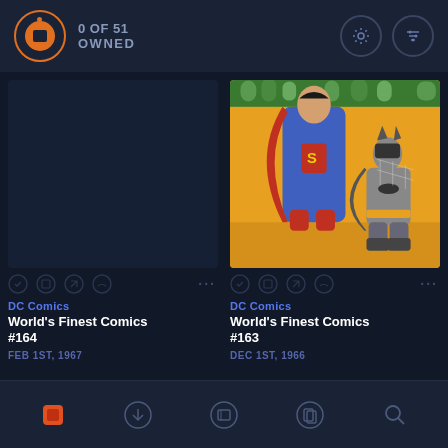0 OF 51 OWNED
[Figure (screenshot): Comic book app interface showing two DC Comics entries: World's Finest Comics #164 (Feb 1st, 1967) with no cover image, and World's Finest Comics #163 (Dec 1st, 1966) with a cover showing Superman and Batman]
DC Comics
World's Finest Comics
#164
FEB 1ST, 1967
DC Comics
World's Finest Comics
#163
DEC 1ST, 1966
Navigation bar with 5 icons